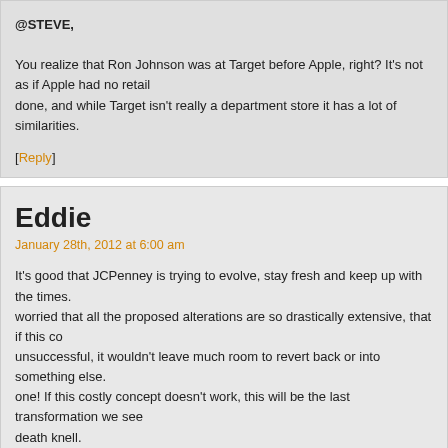@STEVE,

You realize that Ron Johnson was at Target before Apple, right? It's not as if Apple has done, and while Target isn't really a department store it has a lot of similarities.
[Reply]
Eddie
January 28th, 2012 at 6:00 am
It's good that JCPenney is trying to evolve, stay fresh and keep up with the times. I'm worried that all the proposed alterations are so drastically extensive, that if this concept is unsuccessful, it wouldn't leave much room to revert back or into something else. This is an all or one! If this costly concept doesn't work, this will be the last transformation we see... it's death knell.
[Reply]
John
January 28th, 2012 at 9:38 am